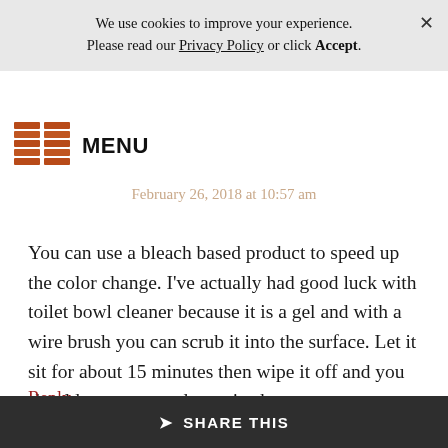We use cookies to improve your experience. Please read our Privacy Policy or click Accept.
[Figure (logo): Website logo with stacked brick-like icon and MENU text]
Shannon Rogers says
February 26, 2018 at 10:57 am
You can use a bleach based product to speed up the color change. I’ve actually had good luck with toilet bowl cleaner because it is a gel and with a wire brush you can scrub it into the surface. Let it sit for about 15 minutes then wipe it off and you should see a pretty dramatic change.
Reply
SHARE THIS